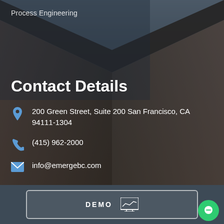Process Engineering
Contact Details
200 Green Street, Suite 200 San Francisco, CA 94111-1304
(415) 962-2000
info@emergebc.com
DEMO